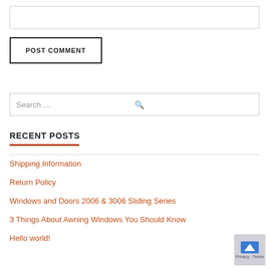[Figure (other): Empty text input box (comment input field)]
[Figure (other): POST COMMENT button with black border]
[Figure (other): Search input box with placeholder text 'Search ...' and magnifier icon]
RECENT POSTS
Shipping Information
Return Policy
Windows and Doors 2006 & 3006 Sliding Series
3 Things About Awning Windows You Should Know
Hello world!